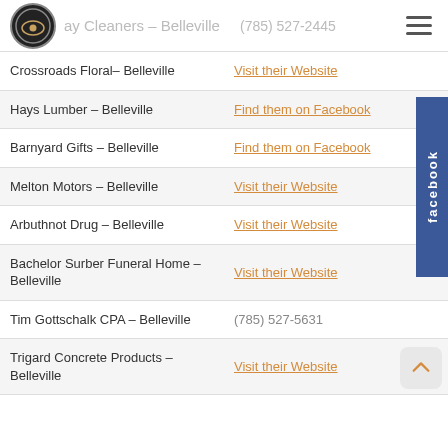ay Cleaners – Belleville   (785) 527-2445
| Business | Contact |
| --- | --- |
| Crossroads Floral– Belleville | Visit their Website |
| Hays Lumber – Belleville | Find them on Facebook |
| Barnyard Gifts – Belleville | Find them on Facebook |
| Melton Motors – Belleville | Visit their Website |
| Arbuthnot Drug – Belleville | Visit their Website |
| Bachelor Surber Funeral Home – Belleville | Visit their Website |
| Tim Gottschalk CPA – Belleville | (785) 527-5631 |
| Trigard Concrete Products – Belleville | Visit their Website |